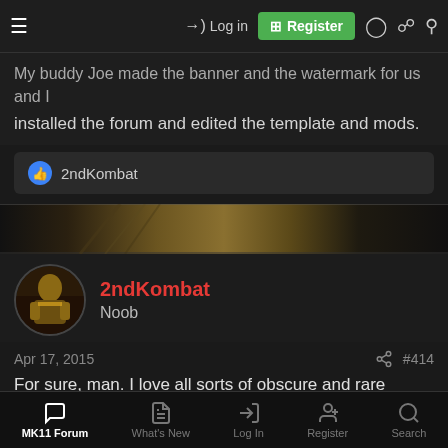Log in | Register
My buddy Joe made the banner and the watermark for us and I installed the forum and edited the template and mods.
2ndKombat
2ndKombat
Noob
Apr 17, 2015  #414
For sure, man. I love all sorts of obscure and rare memorabilia from the MK universe, so it's awesome to see such avid fans with such great kollections. 😄 I noticed Steve's kollection as well. Action figures are certainly my biggest interest in terms of where to begin my kollection, but I find the komics and some of the old
MK11 Forum | What's New | Log In | Register | Search